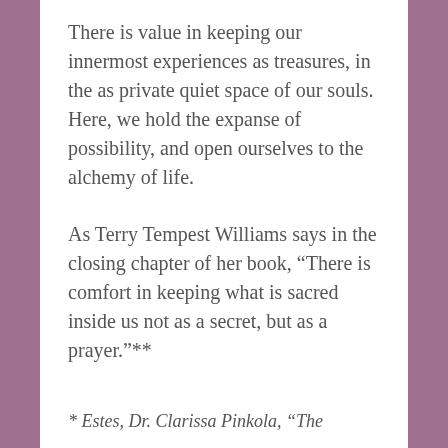There is value in keeping our innermost experiences as treasures, in the as private quiet space of our souls. Here, we hold the expanse of possibility, and open ourselves to the alchemy of life.
As Terry Tempest Williams says in the closing chapter of her book, “There is comfort in keeping what is sacred inside us not as a secret, but as a prayer.”**
* Estes, Dr. Clarissa Pinkola, “The